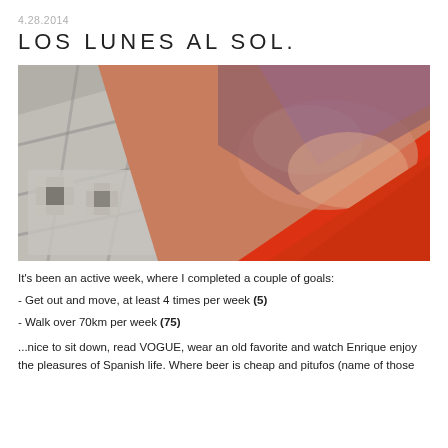4.28.2014
LOS LUNES AL SOL.
[Figure (photo): Close-up photo of a person's knee/leg wearing orange/red shorts, with blurred stone pavement in the background. The image is taken outdoors in sunlight.]
It's been an active week, where I completed a couple of goals:
- Get out and move, at least 4 times per week (5)
- Walk over 70km per week (75)

...nice to sit down, read VOGUE, wear an old favorite and watch Enrique enjoy the pleasures of Spanish life. Where beer is cheap and pitufos (name of those